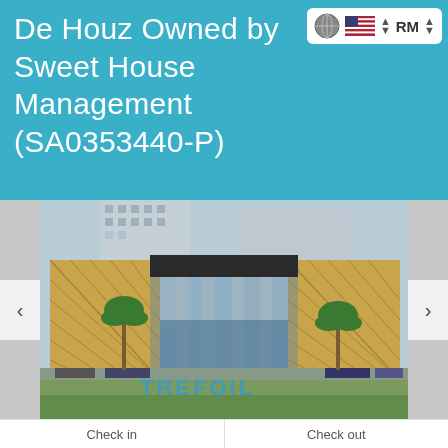De Houz Owned by Sweet House Management (SA0353440-P)
[Figure (screenshot): Navigation controls showing globe icon, US flag with up/down arrows, and RM currency label with up/down arrows on white rounded background]
[Figure (photo): Exterior photograph of Trefoil building — a modern mixed-use development with golden geometric facade panels, tall columns at entrance, high-rise residential towers behind, palm trees in front, and large 'TREFOIL' lettering on lawn]
Check in
Check out